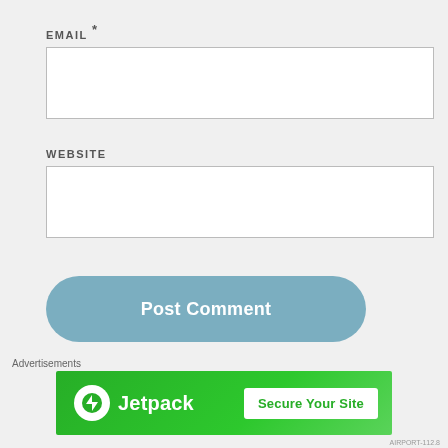EMAIL *
[Figure (screenshot): Empty email input text field with white background and gray border]
WEBSITE
[Figure (screenshot): Empty website input text field with white background and gray border]
[Figure (other): Post Comment button, rounded pill shape, steel blue color]
NOTIFY ME OF NEW COMMENTS VIA EMAIL.
NOTIFY ME OF NEW POSTS VIA EMAIL.
Advertisements
[Figure (screenshot): Jetpack advertisement banner with green background showing Jetpack logo and Secure Your Site button]